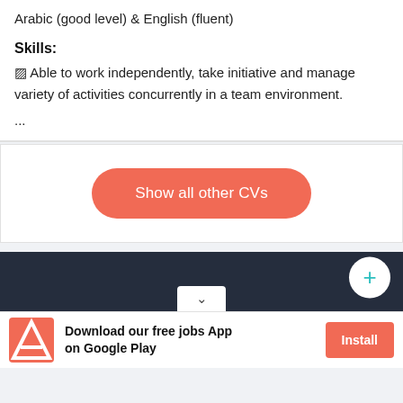Arabic (good level) & English (fluent)
Skills:
● Able to work independently, take initiative and manage variety of activities concurrently in a team environment.
...
[Figure (other): Show all other CVs button — a coral/salmon rounded rectangle button with white text]
[Figure (other): Dark navy navigation bar with white circular plus button on the right and a small white chevron dropdown box at bottom center]
[Figure (other): App download advertisement bar: Adobe-style A logo on red/orange background, text 'Download our free jobs App on Google Play', and coral Install button on the right]